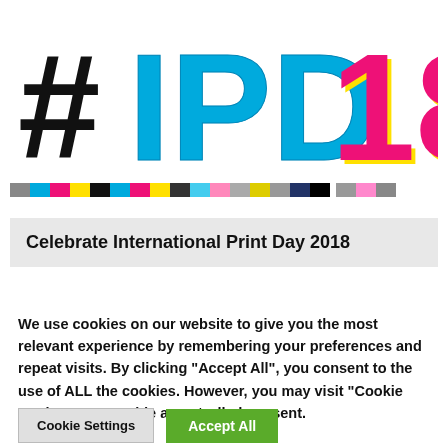[Figure (logo): #IPD18 International Print Day 2018 logo with hash symbol in black, IPD in cyan/blue with white outline and textured letterpress style, 18 in magenta/pink with yellow shadow, on white background]
[Figure (infographic): Color calibration bar strip showing multiple color swatches: gray, cyan, magenta, yellow, black, cyan, magenta, yellow, black, cyan, pink, gray, yellow, gray, dark blue, black for main bar; then a smaller bar with gray, pink, gray]
Celebrate International Print Day 2018
We use cookies on our website to give you the most relevant experience by remembering your preferences and repeat visits. By clicking "Accept All", you consent to the use of ALL the cookies. However, you may visit "Cookie Settings" to provide a controlled consent.
Cookie Settings
Accept All